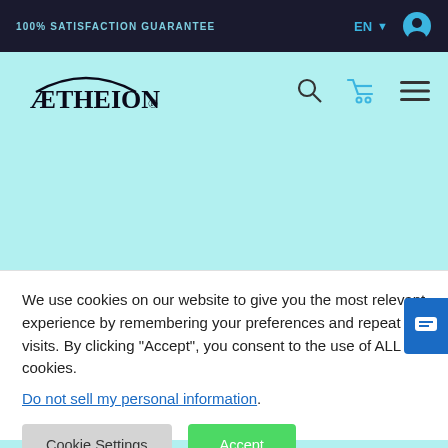100% SATISFACTION GUARANTEE
[Figure (logo): AETHEION brand logo with stylized arc above text]
Are Skincare Fridges Worth It?
We use cookies on our website to give you the most relevant experience by remembering your preferences and repeat visits. By clicking “Accept”, you consent to the use of ALL the cookies.
Do not sell my personal information.